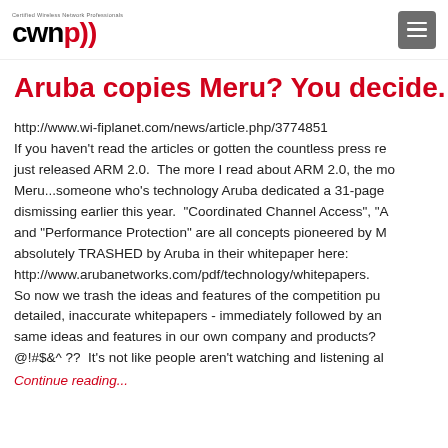CWNP - Certified Wireless Network Professionals
Aruba copies Meru? You decide.
http://www.wi-fiplanet.com/news/article.php/3774851
If you haven't read the articles or gotten the countless press releases, Aruba just released ARM 2.0. The more I read about ARM 2.0, the more I think of Meru...someone who's technology Aruba dedicated a 31-page whitepaper to dismissing earlier this year. "Coordinated Channel Access", "A and "Performance Protection" are all concepts pioneered by Meru and absolutely TRASHED by Aruba in their whitepaper here:
http://www.arubanetworks.com/pdf/technology/whitepapers.
So now we trash the ideas and features of the competition publicly with detailed, inaccurate whitepapers - immediately followed by announcing the same ideas and features in our own company and products? @!#$&^ ??  It's not like people aren't watching and listening al...
Continue reading...